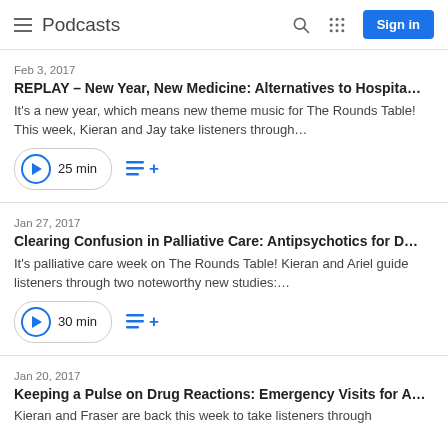Podcasts
Feb 3, 2017
REPLAY – New Year, New Medicine: Alternatives to Hospita…
It's a new year, which means new theme music for The Rounds Table! This week, Kieran and Jay take listeners through…
25 min
Jan 27, 2017
Clearing Confusion in Palliative Care: Antipsychotics for D…
It's palliative care week on The Rounds Table! Kieran and Ariel guide listeners through two noteworthy new studies:…
30 min
Jan 20, 2017
Keeping a Pulse on Drug Reactions: Emergency Visits for A…
Kieran and Fraser are back this week to take listeners through